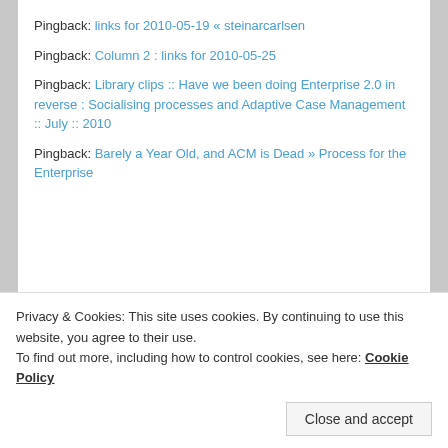Pingback: links for 2010-05-19 « steinarcarlsen
Pingback: Column 2 : links for 2010-05-25
Pingback: Library clips :: Have we been doing Enterprise 2.0 in reverse : Socialising processes and Adaptive Case Management :: July :: 2010
Pingback: Barely a Year Old, and ACM is Dead » Process for the Enterprise
Leave a Reply
Your email address will not be published. Required
Privacy & Cookies: This site uses cookies. By continuing to use this website, you agree to their use.
To find out more, including how to control cookies, see here: Cookie Policy